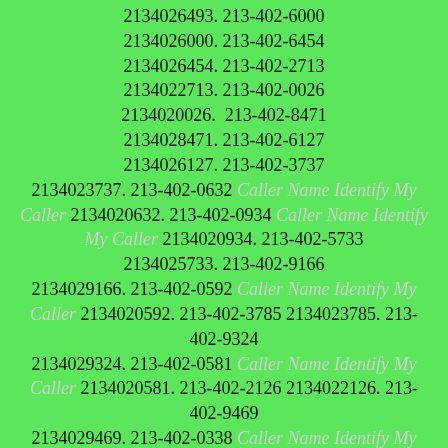2134026493. 213-402-6000 2134026000. 213-402-6454 2134026454. 213-402-2713 2134022713. 213-402-0026 2134020026. 213-402-8471 2134028471. 213-402-6127 2134026127. 213-402-3737 2134023737. 213-402-0632 Caller Name Identify My Caller 2134020632. 213-402-0934 Caller Name Identify My Caller 2134020934. 213-402-5733 2134025733. 213-402-9166 2134029166. 213-402-0592 Caller Name Identify My Caller 2134020592. 213-402-3785 2134023785. 213-402-9324 2134029324. 213-402-0581 Caller Name Identify My Caller 2134020581. 213-402-2126 2134022126. 213-402-9469 2134029469. 213-402-0338 Caller Name Identify My Caller 2134020338. 213-402-0411 Caller Name Identify My Caller 2134020411. 213-402-9299 2134029299. 213-402-1515 2134021515. 213-402-7625 2134027625. 213-402-4015